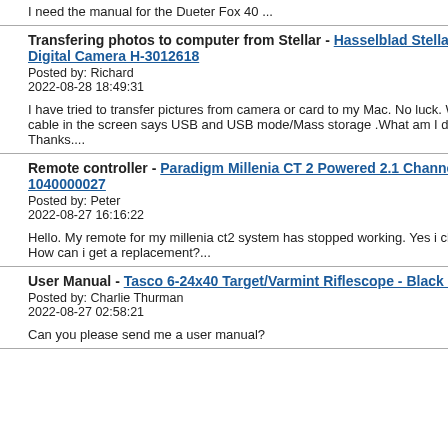I need the manual for the Dueter Fox 40 ...
Transfering photos to computer from Stellar - Hasselblad Stellar Special Edition Digital Camera H-3012618
Posted by: Richard
2022-08-28 18:49:31
I have tried to transfer pictures from camera or card to my Mac. No luck. When I plug the cable in the screen says USB and USB mode/Mass storage .What am I doing wrong. Thanks....
Remote controller - Paradigm Millenia CT 2 Powered 2.1 Channel Speaker 1040000027
Posted by: Peter
2022-08-27 16:16:22
Hello. My remote for my millenia ct2 system has stopped working. Yes i changed the batteries. How can i get a replacement?...
User Manual - Tasco 6-24x40 Target/Varmint Riflescope - Black MAG624X40
Posted by: Charlie Thurman
2022-08-27 02:58:21
Can you please send me a user manual?